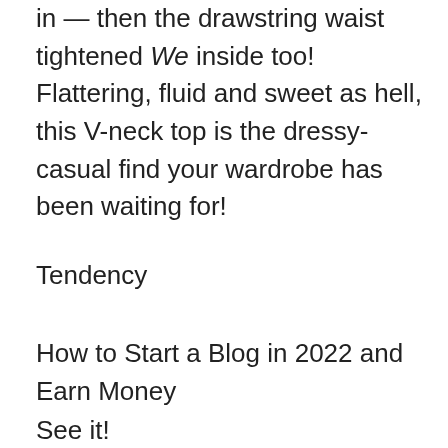in — then the drawstring waist tightened We inside too! Flattering, fluid and sweet as hell, this V-neck top is the dressy-casual find your wardrobe has been waiting for!
Tendency
How to Start a Blog in 2022 and Earn Money
See it!